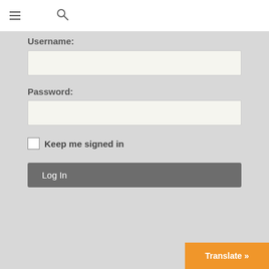≡ 🔍
Username:
Password:
Keep me signed in
Log In
Translate »